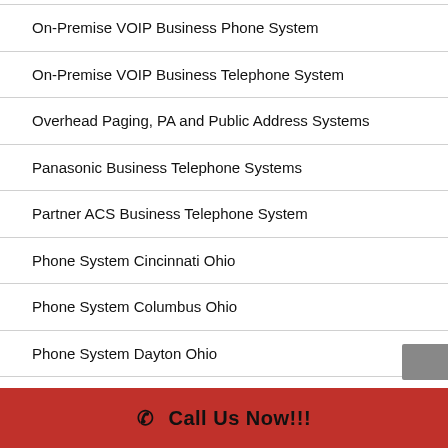On-Premise VOIP Business Phone System
On-Premise VOIP Business Telephone System
Overhead Paging, PA and Public Address Systems
Panasonic Business Telephone Systems
Partner ACS Business Telephone System
Phone System Cincinnati Ohio
Phone System Columbus Ohio
Phone System Dayton Ohio
Phone System London Ohio
Phone System Marysville Ohio
✆ Call Us Now!!!